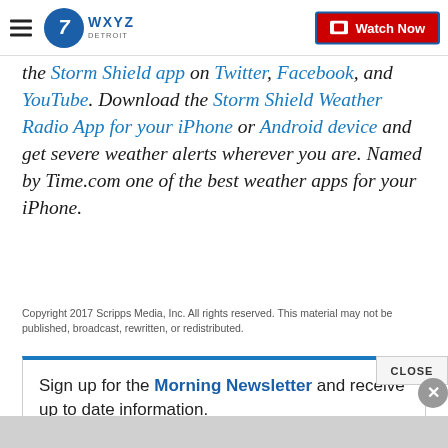WXYZ Detroit — Watch Now
the Storm Shield app on Twitter, Facebook, and YouTube. Download the Storm Shield Weather Radio App for your iPhone or Android device and get severe weather alerts wherever you are. Named by Time.com one of the best weather apps for your iPhone.
Copyright 2017 Scripps Media, Inc. All rights reserved. This material may not be published, broadcast, rewritten, or redistributed.
Sign up for the Morning Newsletter and receive up to date information.